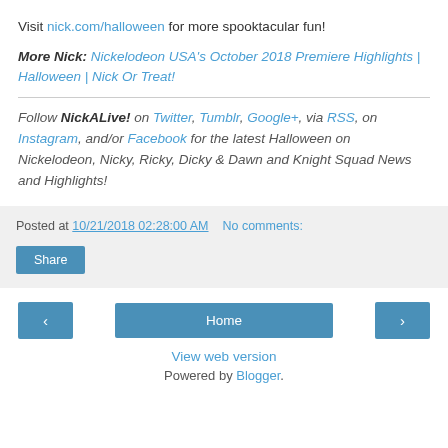Visit nick.com/halloween for more spooktacular fun!
More Nick: Nickelodeon USA's October 2018 Premiere Highlights | Halloween | Nick Or Treat!
Follow NickALive! on Twitter, Tumblr, Google+, via RSS, on Instagram, and/or Facebook for the latest Halloween on Nickelodeon, Nicky, Ricky, Dicky & Dawn and Knight Squad News and Highlights!
Posted at 10/21/2018 02:28:00 AM   No comments:
Share
Home
View web version
Powered by Blogger.